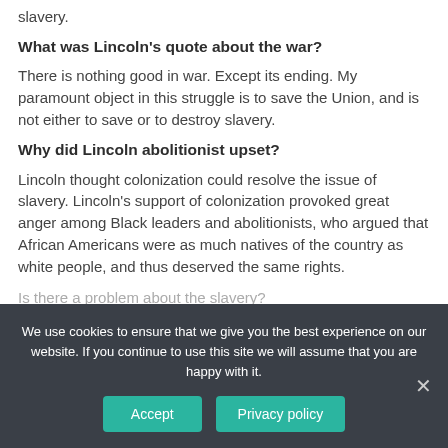slavery.
What was Lincoln's quote about the war?
There is nothing good in war. Except its ending. My paramount object in this struggle is to save the Union, and is not either to save or to destroy slavery.
Why did Lincoln abolitionist upset?
Lincoln thought colonization could resolve the issue of slavery. Lincoln's support of colonization provoked great anger among Black leaders and abolitionists, who argued that African Americans were as much natives of the country as white people, and thus deserved the same rights.
Is there a problem about the slavery? (partially visible)
We use cookies to ensure that we give you the best experience on our website. If you continue to use this site we will assume that you are happy with it.
Accept
Privacy policy